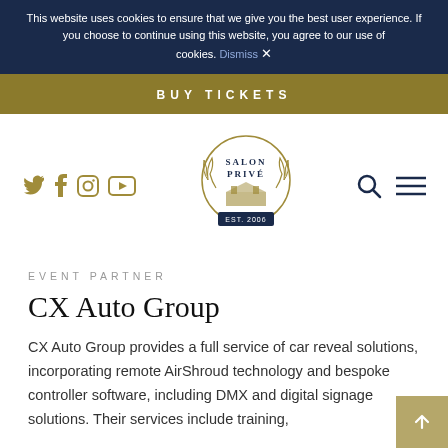This website uses cookies to ensure that we give you the best user experience. If you choose to continue using this website, you agree to our use of cookies. Dismiss ×
BUY TICKETS
[Figure (logo): Salon Prive logo — circular emblem with laurel wreath, building illustration, and EST. 2006 banner. Social media icons (Twitter, Facebook, Instagram, YouTube) on left. Search and hamburger menu icons on right.]
EVENT PARTNER
CX Auto Group
CX Auto Group provides a full service of car reveal solutions, incorporating remote AirShroud technology and bespoke controller software, including DMX and digital signage solutions. Their services include training,